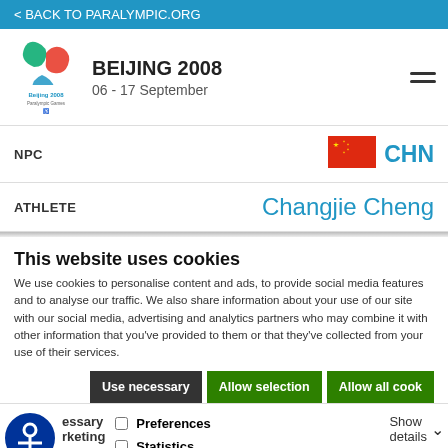< BACK TO PARALYMPIC.ORG
[Figure (logo): Beijing 2008 Paralympic Games logo with agitos symbol]
BEIJING 2008
06 - 17 September
NPC
[Figure (illustration): Chinese flag (red with yellow stars)]
CHN
ATHLETE
Changjie Cheng
This website uses cookies
We use cookies to personalise content and ads, to provide social media features and to analyse our traffic. We also share information about your use of our site with our social media, advertising and analytics partners who may combine it with other information that you've provided to them or that they've collected from your use of their services.
Use necessary | Allow selection | Allow all cook
essary   Preferences   Statistics   Show details   rketing